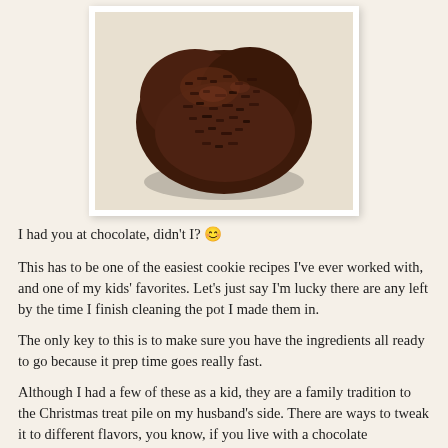[Figure (photo): Close-up photo of a chocolate no-bake cookie cluster on a light surface, showing textured oat and chocolate mixture, presented in a white photo frame.]
I had you at chocolate, didn't I? ☺
This has to be one of the easiest cookie recipes I've ever worked with, and one of my kids' favorites. Let's just say I'm lucky there are any left by the time I finish cleaning the pot I made them in.
The only key to this is to make sure you have the ingredients all ready to go because it prep time goes really fast.
Although I had a few of these as a kid, they are a family tradition to the Christmas treat pile on my husband's side. There are ways to tweak it to different flavors, you know, if you live with a chocolate